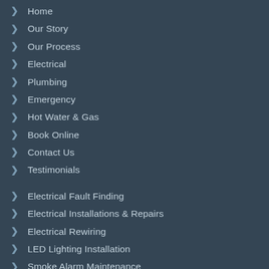Home
Our Story
Our Process
Electrical
Plumbing
Emergency
Hot Water & Gas
Book Online
Contact Us
Testimonials
Electrical Fault Finding
Electrical Installations & Repairs
Electrical Rewiring
LED Lighting Installation
Smoke Alarm Maintenance